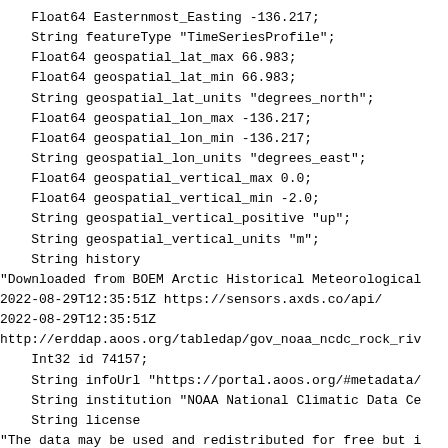Float64 Easternmost_Easting -136.217;
    String featureType "TimeSeriesProfile";
    Float64 geospatial_lat_max 66.983;
    Float64 geospatial_lat_min 66.983;
    String geospatial_lat_units "degrees_north";
    Float64 geospatial_lon_max -136.217;
    Float64 geospatial_lon_min -136.217;
    String geospatial_lon_units "degrees_east";
    Float64 geospatial_vertical_max 0.0;
    Float64 geospatial_vertical_min -2.0;
    String geospatial_vertical_positive "up";
    String geospatial_vertical_units "m";
    String history
"Downloaded from BOEM Arctic Historical Meteorological
2022-08-29T12:35:51Z https://sensors.axds.co/api/
2022-08-29T12:35:51Z
http://erddap.aoos.org/tabledap/gov_noaa_ncdc_rock_riv
    Int32 id 74157;
    String infoUrl "https://portal.aoos.org/#metadata/
    String institution "NOAA National Climatic Data Ce
    String license
"The data may be used and redistributed for free but i
for legal use, since it may contain inaccuracies. Neit
Contributor, ERD, NOAA, nor the United States Governme
of their employees or contractors, makes any warranty,
of their information, completeness, timeliness, or f